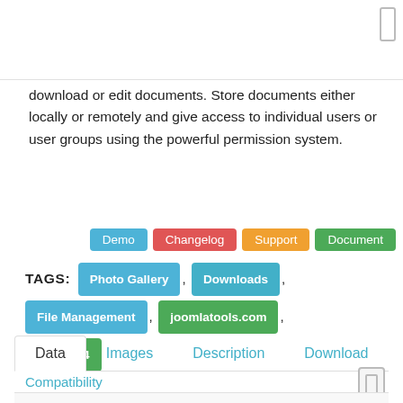download or edit documents. Store documents either locally or remotely and give access to individual users or user groups using the powerful permission system.
Demo | Changelog | Support | Document
TAGS: Photo Gallery , Downloads , File Management , joomlatools.com , Joomla 4
Data  Images  Description  Download
Compatibility
| Views | 13,646 | Downloads | 247 |
| --- | --- | --- | --- |